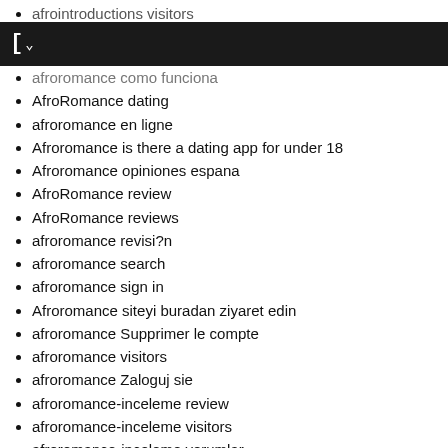afrointroductions visitors
afroromance 2berpr2fung
[chevron toolbar]
afroromance como funciona
AfroRomance dating
afroromance en ligne
Afroromance is there a dating app for under 18
Afroromance opiniones espana
AfroRomance review
AfroRomance reviews
afroromance revisi?n
afroromance search
afroromance sign in
Afroromance siteyi buradan ziyaret edin
afroromance Supprimer le compte
afroromance visitors
afroromance Zaloguj sie
afroromance-inceleme review
afroromance-inceleme visitors
afroromance-inceleme yorumlar
afroromance-recenze Reddit
age gap dating reviews
age gap dating sign in
Age Gap Dating Sites app
Age Gap Dating Sites only consumer reports
Age Gap Dating Sites reviews